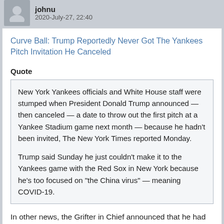johnu
2020-July-27, 22:40
Curve Ball: Trump Reportedly Never Got The Yankees Pitch Invitation He Canceled
Quote
New York Yankees officials and White House staff were stumped when President Donald Trump announced — then canceled — a date to throw out the first pitch at a Yankee Stadium game next month — because he hadn't been invited, The New York Times reported Monday.

Trump said Sunday he just couldn't make it to the Yankees game with the Red Sox in New York because he's too focused on "the China virus" — meaning COVID-19.
In other news, the Grifter in Chief announced that he had declined 5 different Nobel Prizes in widely different fields this year because he was too busy watching Fox Propaganda and tweeting to attend the ceremonies. 😊
thanacoum